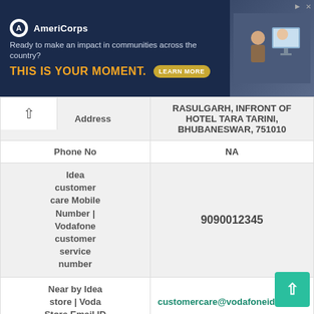[Figure (screenshot): AmeriCorps advertisement banner with dark navy background. Logo with white circle containing AmeriCorps 'A', tagline 'Ready to make an impact in communities across the country?', yellow headline 'THIS IS YOUR MOMENT.', LEARN MORE button, and photo of people at computers on right side.]
| Field | Value |
| --- | --- |
| Address | RASULGARH, INFRONT OF HOTEL TARA TARINI, BHUBANESWAR, 751010 |
| Phone No | NA |
| Idea customer care Mobile Number | Vodafone customer service number | 9090012345 |
| Near by Idea store | Voda Store Email ID | customercare@vodafoneidea.com |
| Vodafone store timing | Idea store timing | New Vi store timing | (Mon-Sat)  10-00-19-00 |